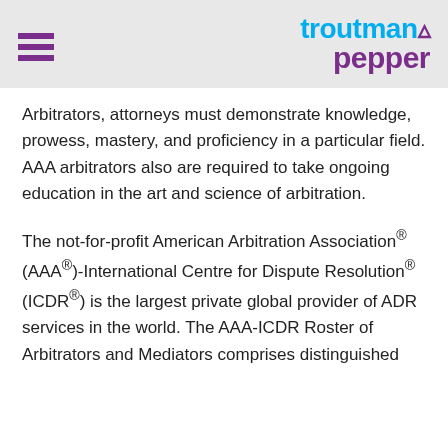[Figure (logo): Troutman Pepper law firm logo with hamburger menu icon on the left and the two-line wordmark 'troutman pepper' in blue and purple on the right]
Arbitrators, attorneys must demonstrate knowledge, prowess, mastery, and proficiency in a particular field. AAA arbitrators also are required to take ongoing education in the art and science of arbitration.
The not-for-profit American Arbitration Association® (AAA®)-International Centre for Dispute Resolution® (ICDR®) is the largest private global provider of ADR services in the world. The AAA-ICDR Roster of Arbitrators and Mediators comprises distinguished